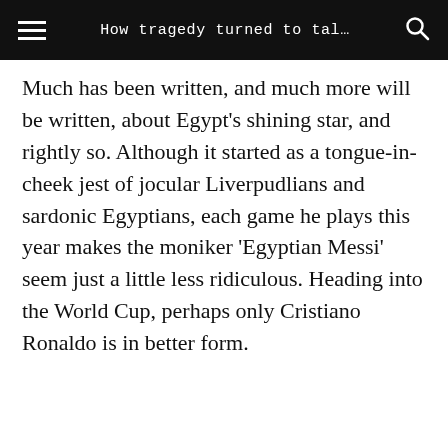How tragedy turned to tal…
Much has been written, and much more will be written, about Egypt's shining star, and rightly so. Although it started as a tongue-in-cheek jest of jocular Liverpudlians and sardonic Egyptians, each game he plays this year makes the moniker 'Egyptian Messi' seem just a little less ridiculous. Heading into the World Cup, perhaps only Cristiano Ronaldo is in better form.